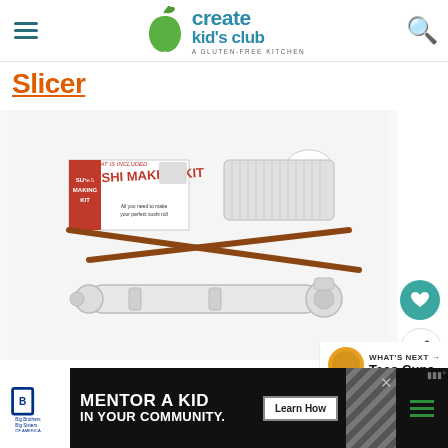Create Kid's Club — A Gluten-Free Kitchen
Slicer
[Figure (photo): Sushi Making Kit product photo showing the box, sushi roller/slicer tool, chopsticks, and a cylindrical rice mold on white background]
[Figure (photo): Small circular food photo thumbnail next to Whats Next label]
WHAT'S NEXT → Taco Cups
[Figure (screenshot): Ad banner: Big Brothers Big Sisters logo, MENTOR A KID IN YOUR COMMUNITY. Learn How button, diagonal stripe pattern]